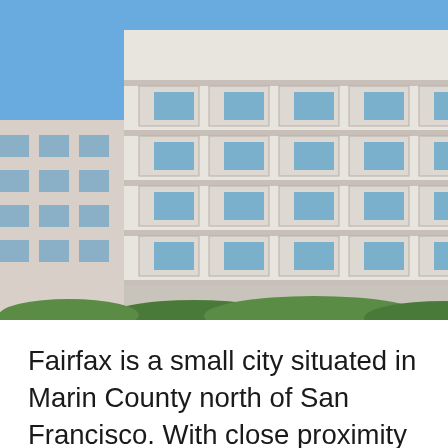[Figure (photo): Exterior photograph of a modern multi-story white apartment or condominium building with balconies, under a blue sky, with green hedges/trees at the base.]
Fairfax is a small city situated in Marin County north of San Francisco. With close proximity to the Bay Area and surrounded by beautiful landscapes with creeks and springs, Fairfax is a delightful place to reside. The town accommodates both traditional and modern residential properties including several